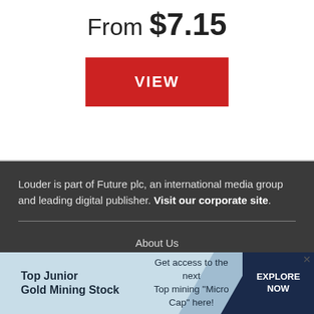From $7.15
[Figure (other): Red VIEW button]
Louder is part of Future plc, an international media group and leading digital publisher. Visit our corporate site.
About Us
Terms and conditions
Privacy policy
Cookies policy
[Figure (infographic): Advertisement banner: Top Junior Gold Mining Stock - Get access to the next Top mining Micro Cap here! EXPLORE NOW]